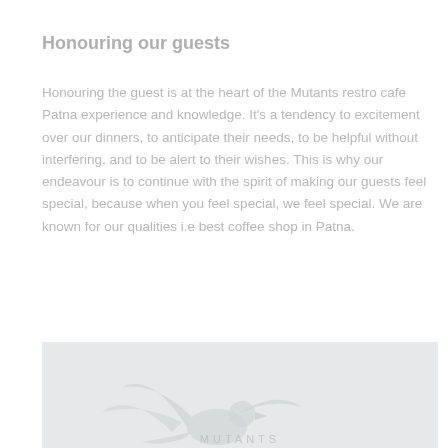Honouring our guests
Honouring the guest is at the heart of the Mutants restro cafe Patna experience and knowledge. It's a tendency to excitement over our dinners, to anticipate their needs, to be helpful without interfering, and to be alert to their wishes. This is why our endeavour is to continue with the spirit of making our guests feel special, because when you feel special, we feel special. We are known for our qualities i.e best coffee shop in Patna.
[Figure (photo): Photo of a decorative bird or logo at the bottom of the page, light gray tones on a light background]